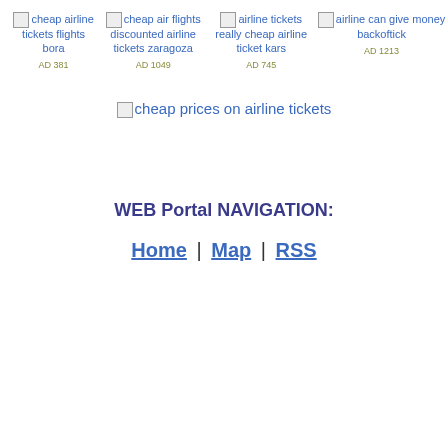[Figure (other): Four ad blocks with broken image icons and text links: 'cheap airline tickets flights bora' AD 381, 'cheap air flights discounted airline tickets zaragoza' AD 1049, 'airline tickets really cheap airline ticket kars' AD 745, 'airline can give money backoftick' AD 1213]
[Figure (other): Broken image icon followed by text: cheap prices on airline tickets]
WEB Portal NAVIGATION:
Home | Map | RSS